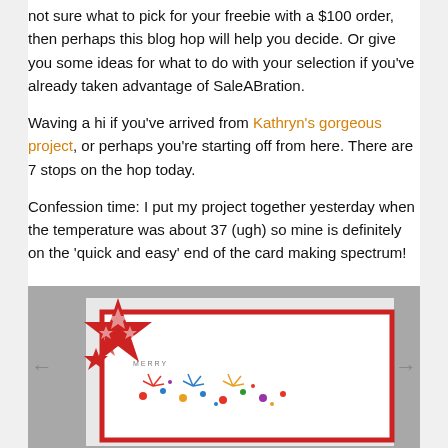not sure what to pick for your freebie with a $100 order, then perhaps this blog hop will help you decide. Or give you some ideas for what to do with your selection if you've already taken advantage of SaleABration.
Waving a hi if you've arrived from Kathryn's gorgeous project, or perhaps you're starting off from here. There are 7 stops on the hop today.
Confession time: I put my project together yesterday when the temperature was about 37 (ugh) so mine is definitely on the 'quick and easy' end of the card making spectrum!
[Figure (photo): A handmade card with a red star stamp design in the upper left corner, a red border frame on white card base, with 'MERRY' text and colorful confetti/celebration decorations.]